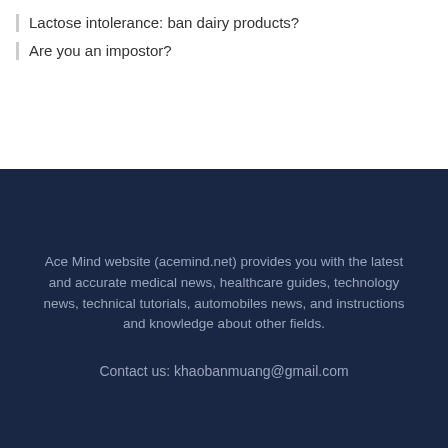Lactose intolerance: ban dairy products?
Are you an impostor?
Ace Mind website (acemind.net) provides you with the latest and accurate medical news, healthcare guides, technology news, technical tutorials, automobiles news, and instructions and knowledge about other fields.
Contact us: khaobanmuang@gmail.com